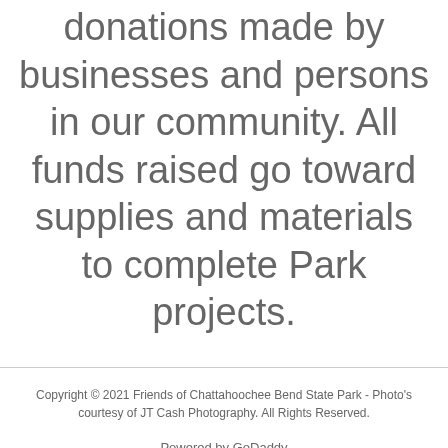donations made by businesses and persons in our community. All funds raised go toward supplies and materials to complete Park projects.
Copyright © 2021 Friends of Chattahoochee Bend State Park - Photo's courtesy of JT Cash Photography. All Rights Reserved.
Powered by GoDaddy